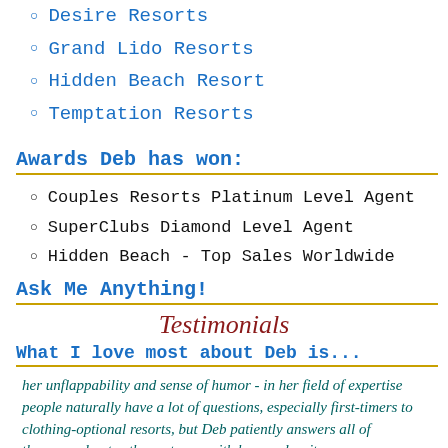Desire Resorts
Grand Lido Resorts
Hidden Beach Resort
Temptation Resorts
Awards Deb has won:
Couples Resorts Platinum Level Agent
SuperClubs Diamond Level Agent
Hidden Beach - Top Sales Worldwide
Ask Me Anything!
Testimonials
What I love most about Deb is...
her unflappability and sense of humor - in her field of expertise people naturally have a lot of questions, especially first-timers to clothing-optional resorts, but Deb patiently answers all of them....and puts others at ease with her ready wit.